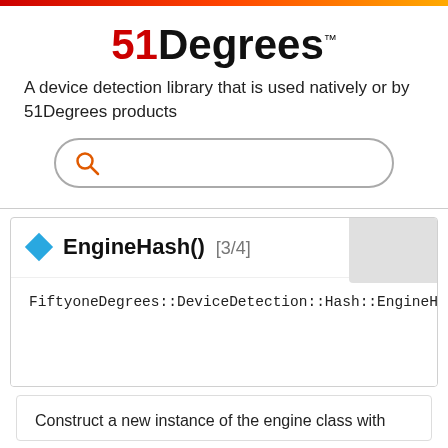[Figure (logo): 51Degrees logo with red '51' and black 'Degrees' text and TM superscript]
A device detection library that is used natively or by 51Degrees products
[Figure (other): Search bar with orange search icon]
EngineHash() [3/4]
FiftyoneDegrees::DeviceDetection::Hash::EngineHa
Construct a new instance of the engine class with